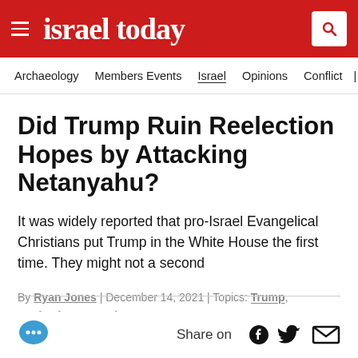israel today
Archaeology | Members Events | Israel | Opinions | Conflict
Did Trump Ruin Reelection Hopes by Attacking Netanyahu?
It was widely reported that pro-Israel Evangelical Christians put Trump in the White House the first time. They might not a second
By Ryan Jones | December 14, 2021 | Topics: Trump, Benjamin Netanyahu